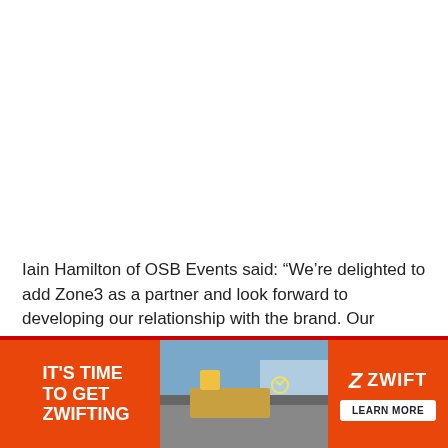Iain Hamilton of OSB Events said: “We're delighted to add Zone3 as a partner and look forward to developing our relationship with the brand. Our philosophy is to put our...
[Figure (infographic): Zwift advertisement banner with orange background. Left section shows text 'IT'S TIME TO GET ZWIFTING' in white bold letters. Middle section shows a photo of a cyclist on a mountain road. Right section shows the Zwift logo and a 'LEARN MORE' button.]